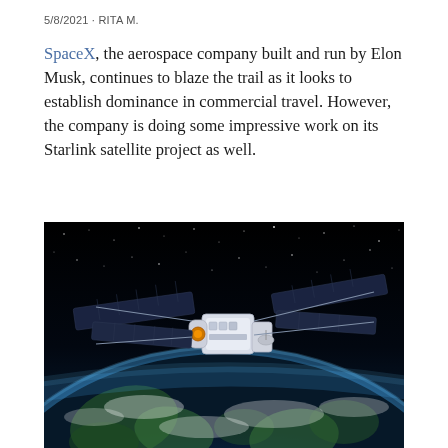5/8/2021 · RITA M.
SpaceX, the aerospace company built and run by Elon Musk, continues to blaze the trail as it looks to establish dominance in commercial travel. However, the company is doing some impressive work on its Starlink satellite project as well.
[Figure (photo): A satellite orbiting above Earth with solar panels extended, Earth's curved horizon visible below with blue atmosphere glow, set against a starry black space background.]